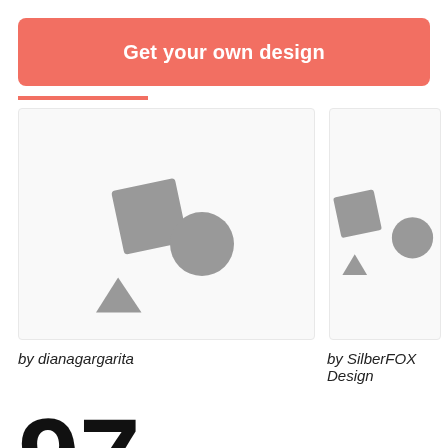Get your own design
[Figure (illustration): Placeholder image with grey square, circle, and triangle shapes on white/light grey background - left card]
[Figure (illustration): Placeholder image with grey square, circle, and triangle shapes on white/light grey background - right card (partially visible)]
by dianagargarita
by SilberFOX Design
97